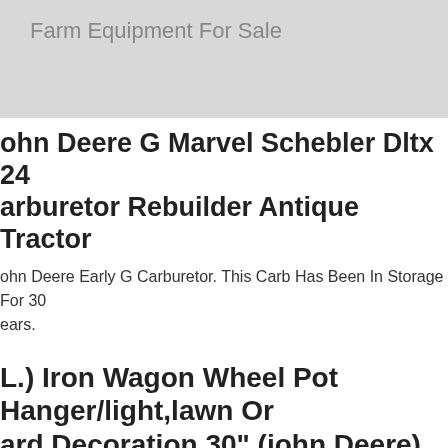Farm Equipment For Sale
John Deere G Marvel Schebler Dltx 24 Carburetor Rebuilder Antique Tractor
John Deere Early G Carburetor. This Carb Has Been In Storage For 30 Years.
L.) Iron Wagon Wheel Pot Hanger/light,lawn Or Yard Decoration 30" (john Deere)
Expected Wear, Good Solid Wheels For Many Decorative Uses! John Deere Wheel. Midwest Amish Estate Sale Find.
Antique Vintage Collector John Deere 212 Heavy Duty Garden Tractor Barn Find :.
Antique John Deere Tricycle With Trailer. Antique John Deere Tricycle With